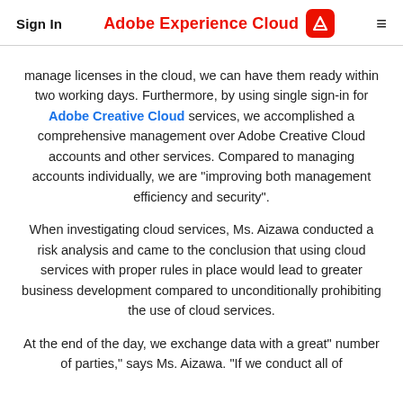Sign In | Adobe Experience Cloud [logo] [menu]
manage licenses in the cloud, we can have them ready within two working days. Furthermore, by using single sign-in for Adobe Creative Cloud services, we accomplished a comprehensive management over Adobe Creative Cloud accounts and other services. Compared to managing accounts individually, we are "improving both management efficiency and security.
When investigating cloud services, Ms. Aizawa conducted a risk analysis and came to the conclusion that using cloud services with proper rules in place would lead to greater business development compared to unconditionally prohibiting the use of cloud services.
At the end of the day, we exchange data with a great" number of parties," says Ms. Aizawa. "If we conduct all of